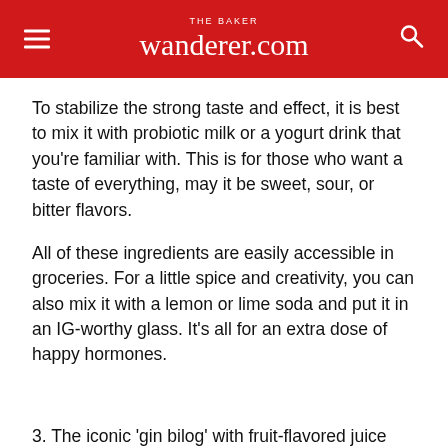THE BAKER wanderer.com
To stabilize the strong taste and effect, it is best to mix it with probiotic milk or a yogurt drink that you're familiar with. This is for those who want a taste of everything, may it be sweet, sour, or bitter flavors.
All of these ingredients are easily accessible in groceries. For a little spice and creativity, you can also mix it with a lemon or lime soda and put it in an IG-worthy glass. It's all for an extra dose of happy hormones.
3. The iconic 'gin bilog' with fruit-flavored juice
Pinoys are very fond of powdered-fruit drinks, and you've surely gone to buy one for your family celebrations at home. This is one that will become the envy of...